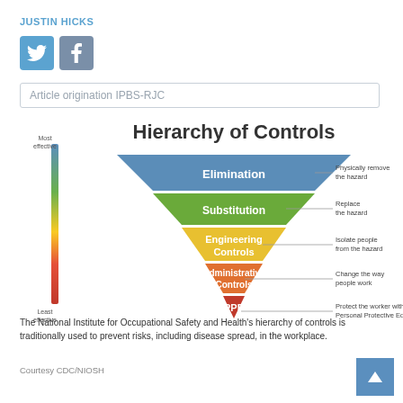JUSTIN HICKS
[Figure (other): Twitter and Facebook social media icons]
Article origination IPBS-RJC
[Figure (infographic): Hierarchy of Controls inverted triangle diagram showing: Elimination (blue, most effective) - Physically remove the hazard; Substitution (green) - Replace the hazard; Engineering Controls (yellow) - Isolate people from the hazard; Administrative Controls (orange) - Change the way people work; PPE (red, least effective) - Protect the worker with Personal Protective Equipment. A vertical color gradient bar on the left indicates Most effective at top to Least effective at bottom.]
The National Institute for Occupational Safety and Health's hierarchy of controls is traditionally used to prevent risks, including disease spread, in the workplace.
Courtesy CDC/NIOSH